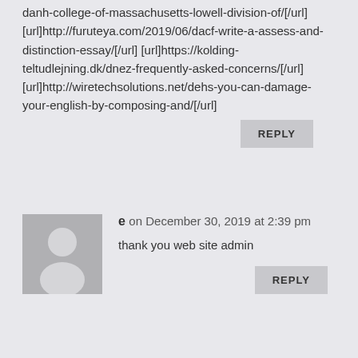danh-college-of-massachusetts-lowell-division-of/[/url] [url]http://furuteya.com/2019/06/dacf-write-a-assess-and-distinction-essay/[/url] [url]https://kolding-teltudlejning.dk/dnez-frequently-asked-concerns/[/url] [url]http://wiretechsolutions.net/dehs-you-can-damage-your-english-by-composing-and/[/url]
REPLY
[Figure (illustration): Generic user avatar silhouette on gray background]
e on December 30, 2019 at 2:39 pm
thank you web site admin
REPLY